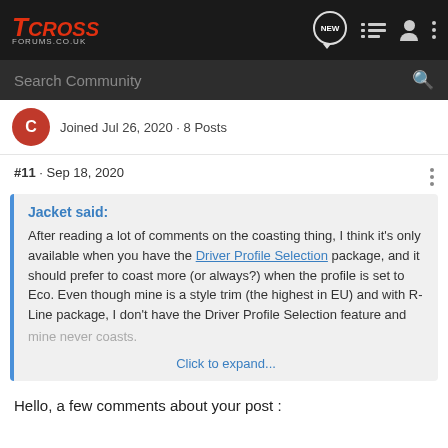TCROSS FORUMS.CO.UK
Search Community
Joined Jul 26, 2020 · 8 Posts
#11 · Sep 18, 2020
Jacket said:
After reading a lot of comments on the coasting thing, I think it's only available when you have the Driver Profile Selection package, and it should prefer to coast more (or always?) when the profile is set to Eco. Even though mine is a style trim (the highest in EU) and with R-Line package, I don't have the Driver Profile Selection feature and mine never coasts.
Click to expand...
Hello, a few comments about your post :